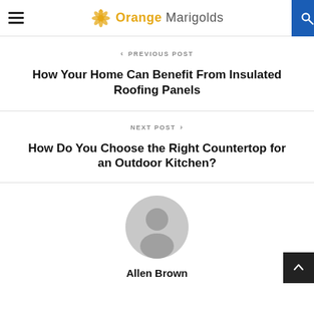Orange Marigolds
< PREVIOUS POST
How Your Home Can Benefit From Insulated Roofing Panels
NEXT POST >
How Do You Choose the Right Countertop for an Outdoor Kitchen?
[Figure (illustration): Generic user avatar icon — circular gray silhouette of a person]
Allen Brown